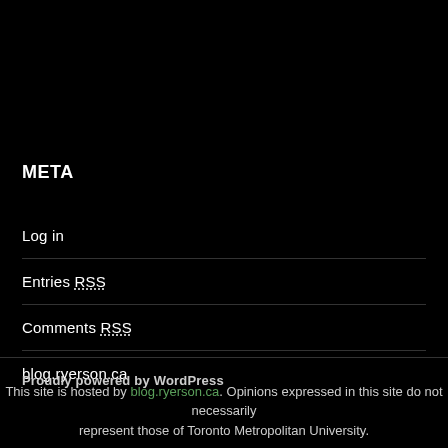META
Log in
Entries RSS
Comments RSS
blog.ryerson.ca
Proudly powered by WordPress
This site is hosted by blog.ryerson.ca. Opinions expressed in this site do not necessarily represent those of Toronto Metropolitan University.